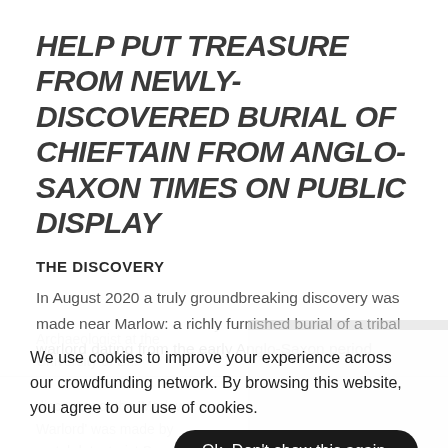HELP PUT TREASURE FROM NEWLY-DISCOVERED BURIAL OF CHIEFTAIN FROM ANGLO-SAXON TIMES ON PUBLIC DISPLAY
THE DISCOVERY
In August 2020 a truly groundbreaking discovery was made near Marlow: a richly furnished burial of a tribal warlord dating from the early Anglo-Saxon period.
Archaeologist at the... (faded background text)
We use cookies to improve your experience across our crowdfunding network. By browsing this website, you agree to our use of cookies.
Ok. Don't show this again.